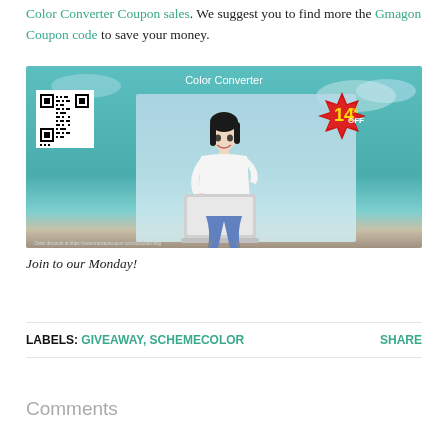Color Converter Coupon sales. We suggest you to find more the Gmagon Coupon code to save your money.
[Figure (photo): Color Converter promotional banner with a QR code on the left, a person sitting with a laptop in the center, and a red starburst badge showing 14% OFF on the right. Teal/sky background with clouds. Footer text: Claim discount at https://www.trackedcoupon.com/d5530a5-bug]
Join to our Monday!
LABELS: GIVEAWAY, SCHEMECOLOR    SHARE
Comments